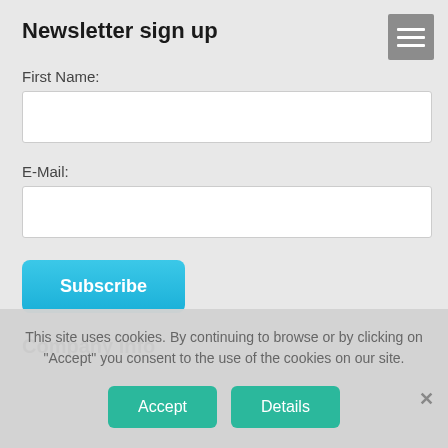Newsletter sign up
First Name:
[Figure (screenshot): Empty text input field for First Name]
E-Mail:
[Figure (screenshot): Empty text input field for E-Mail]
Subscribe
Company Info
This site uses cookies. By continuing to browse or by clicking on "Accept" you consent to the use of the cookies on our site.
Accept
Details